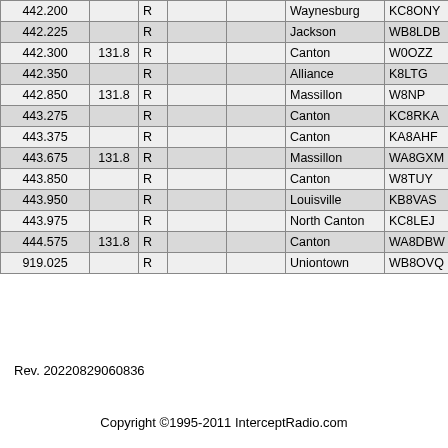| Freq | Tone | Mode |  |  | City | Callsign |  |
| --- | --- | --- | --- | --- | --- | --- | --- |
| 442.200 |  | R |  |  | Waynesburg | KC8ONY |  |
| 442.225 |  | R |  |  | Jackson | WB8LDB |  |
| 442.300 | 131.8 | R |  |  | Canton | W0OZZ |  |
| 442.350 |  | R |  |  | Alliance | K8LTG |  |
| 442.850 | 131.8 | R |  |  | Massillon | W8NP |  |
| 443.275 |  | R |  |  | Canton | KC8RKA |  |
| 443.375 |  | R |  |  | Canton | KA8AHF |  |
| 443.675 | 131.8 | R |  |  | Massillon | WA8GXM |  |
| 443.850 |  | R |  |  | Canton | W8TUY |  |
| 443.950 |  | R |  |  | Louisville | KB8VAS |  |
| 443.975 |  | R |  |  | North Canton | KC8LEJ |  |
| 444.575 | 131.8 | R |  |  | Canton | WA8DBW |  |
| 919.025 |  | R |  |  | Uniontown | WB8OVQ |  |
Rev. 20220829060836
Copyright ©1995-2011 InterceptRadio.com